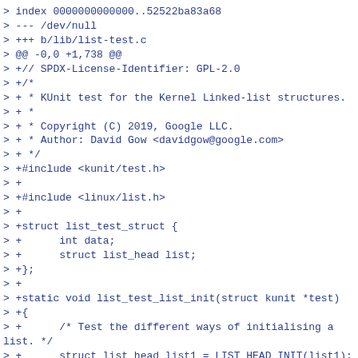> index 0000000000000..52522ba83a68
> --- /dev/null
> +++ b/lib/list-test.c
> @@ -0,0 +1,738 @@
> +// SPDX-License-Identifier: GPL-2.0
> +/*
> + * KUnit test for the Kernel Linked-list structures.
> + *
> + * Copyright (C) 2019, Google LLC.
> + * Author: David Gow <davidgow@google.com>
> + */
> +#include <kunit/test.h>
> +
> +#include <linux/list.h>
> +
> +struct list_test_struct {
> +      int data;
> +      struct list_head list;
> +};
> +
> +static void list_test_list_init(struct kunit *test)
> +{
> +      /* Test the different ways of initialising a list. */
> +      struct list_head list1 = LIST_HEAD_INIT(list1);
> +      struct list_head list2;
> +      LIST_HEAD(list3);
> +      struct list_head *list4;
> +      struct list_head *list5;
> +